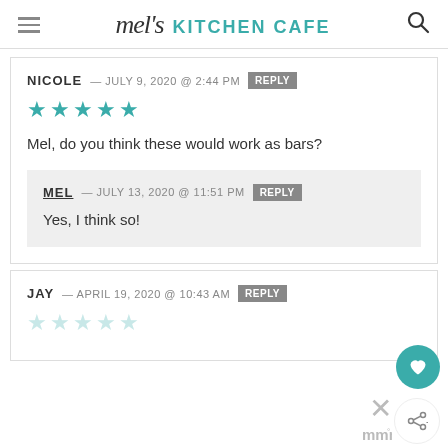mel's KITCHEN CAFE
NICOLE — JULY 9, 2020 @ 2:44 PM  REPLY
[Figure (other): 5 teal filled star rating]
Mel, do you think these would work as bars?
MEL — JULY 13, 2020 @ 11:51 PM  REPLY
Yes, I think so!
JAY — APRIL 19, 2020 @ 10:43 AM  REPLY
[Figure (other): 5 faded/empty star rating]